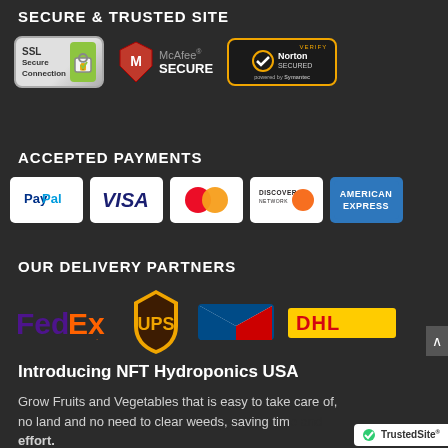SECURE & TRUSTED SITE
[Figure (logo): SSL Secure Connection badge, McAfee SECURE badge, Norton SECURED powered by Symantec badge]
ACCEPTED PAYMENTS
[Figure (logo): Payment method logos: PayPal, VISA, MasterCard, DISCOVER NETWORK, AMERICAN EXPRESS]
OUR DELIVERY PARTNERS
[Figure (logo): Delivery partner logos: FedEx, UPS, USPS, DHL]
Introducing NFT Hydroponics USA
Grow Fruits and Vegetables that is easy to take care of, no land and no need to clear weeds, saving time and effort.
[Figure (logo): TrustedSite badge]